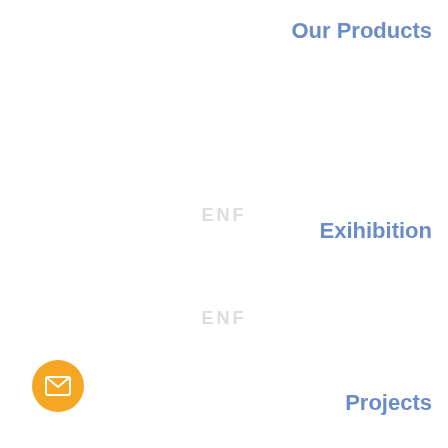Our Products
[Figure (logo): ENF watermark text in light gray, centered]
Exihibition
[Figure (logo): ENF watermark text in light gray, centered]
Projects
[Figure (other): Orange circular email/envelope icon button at bottom left]